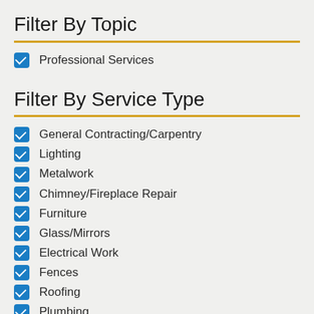Filter By Topic
Professional Services (checked)
Filter By Service Type
General Contracting/Carpentry (checked)
Lighting (checked)
Metalwork (checked)
Chimney/Fireplace Repair (checked)
Furniture (checked)
Glass/Mirrors (checked)
Electrical Work (checked)
Fences (checked)
Roofing (checked)
Plumbing (checked)
Preservation Consulting/Historical Research (16) (unchecked)